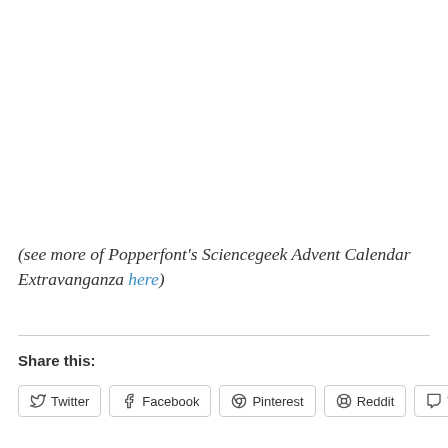(see more of Popperfont's Sciencegeek Advent Calendar Extravanganza here)
Share this:
Twitter | Facebook | Pinterest | Reddit | Tumblr